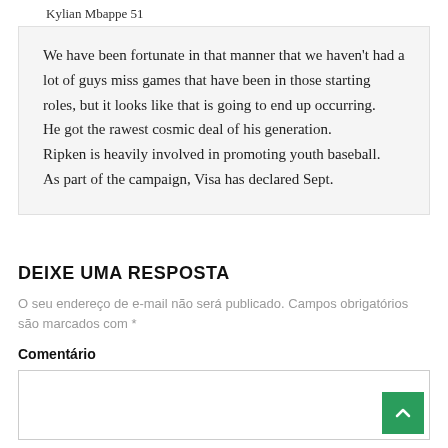Kylian Mbappe 51
We have been fortunate in that manner that we haven't had a lot of guys miss games that have been in those starting roles, but it looks like that is going to end up occurring.
He got the rawest cosmic deal of his generation.
Ripken is heavily involved in promoting youth baseball.
As part of the campaign, Visa has declared Sept.
DEIXE UMA RESPOSTA
O seu endereço de e-mail não será publicado. Campos obrigatórios são marcados com *
Comentário